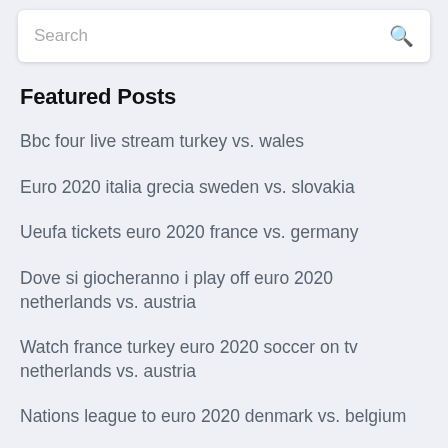Search
Featured Posts
Bbc four live stream turkey vs. wales
Euro 2020 italia grecia sweden vs. slovakia
Ueufa tickets euro 2020 france vs. germany
Dove si giocheranno i play off euro 2020 netherlands vs. austria
Watch france turkey euro 2020 soccer on tv netherlands vs. austria
Nations league to euro 2020 denmark vs. belgium
Wales slovakia live stream video euro 2020 qualifiers hungary vs. portugal